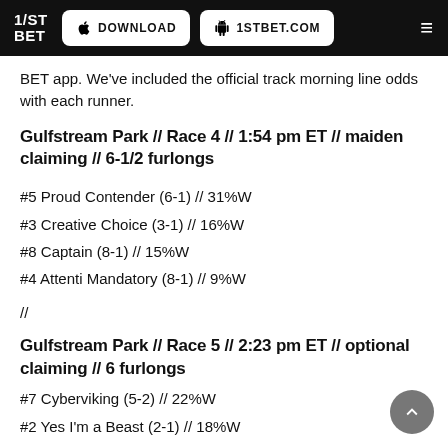1/ST BET | DOWNLOAD | 1STBET.COM
BET app. We've included the official track morning line odds with each runner.
Gulfstream Park // Race 4 // 1:54 pm ET // maiden claiming // 6-1/2 furlongs
#5 Proud Contender (6-1) // 31%W
#3 Creative Choice (3-1) // 16%W
#8 Captain (8-1) // 15%W
#4 Attenti Mandatory (8-1) // 9%W
//
Gulfstream Park // Race 5 // 2:23 pm ET // optional claiming // 6 furlongs
#7 Cyberviking (5-2) // 22%W
#2 Yes I'm a Beast (2-1) // 18%W